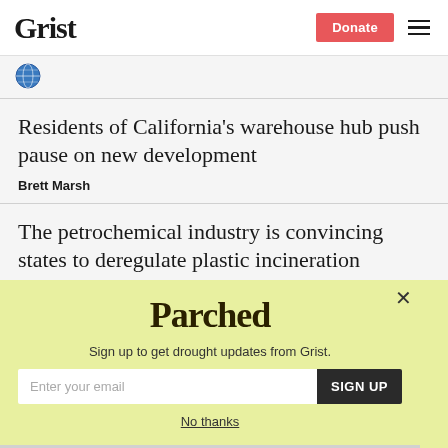Grist | Donate
[Figure (logo): Small globe/earth icon]
Residents of California’s warehouse hub push pause on new development
Brett Marsh
The petrochemical industry is convincing states to deregulate plastic incineration
[Figure (infographic): Parched newsletter signup popup modal with yellow-green background, Parched logo, email signup form, and No thanks link]